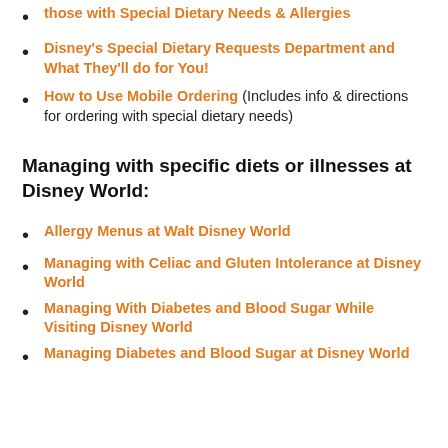those with Special Dietary Needs & Allergies
Disney's Special Dietary Requests Department and What They'll do for You!
How to Use Mobile Ordering (Includes info & directions for ordering with special dietary needs)
Managing with specific diets or illnesses at Disney World:
Allergy Menus at Walt Disney World
Managing with Celiac and Gluten Intolerance at Disney World
Managing With Diabetes and Blood Sugar While Visiting Disney World
Managing Diabetes and Blood Sugar at Disney World